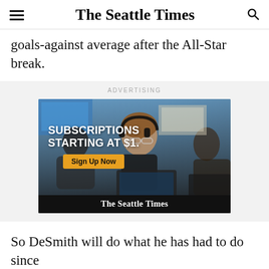The Seattle Times
goals-against average after the All-Star break.
ADVERTISING
[Figure (photo): The Seattle Times subscription advertisement showing a woman wearing headphones and glasses working at a computer in a newsroom setting. Text overlay reads: SUBSCRIPTIONS STARTING AT $1. Sign Up Now. The Seattle Times.]
So DeSmith will do what he has had to do since